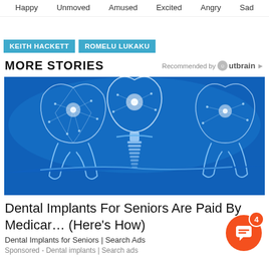Happy   Unmoved   Amused   Excited   Angry   Sad
KEITH HACKETT
ROMELU LUKAKU
MORE STORIES
Recommended by Outbrain
[Figure (photo): Digital illustration of three teeth/dental implants with glowing wireframe/polygon geometric design on a blue background, showing two natural teeth flanking one dental implant in the center.]
Dental Implants For Seniors Are Paid By Medicare (Here's How)
Dental Implants for Seniors | Search Ads
Sponsored - Dental implants | Search ads